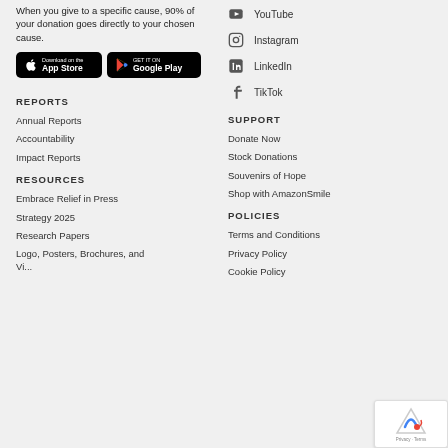When you give to a specific cause, 90% of your donation goes directly to your chosen cause.
[Figure (other): App Store and Google Play download buttons]
YouTube
Instagram
LinkedIn
TikTok
REPORTS
Annual Reports
Accountability
Impact Reports
RESOURCES
Embrace Relief in Press
Strategy 2025
Research Papers
Logo, Posters, Brochures, and Vi...
SUPPORT
Donate Now
Stock Donations
Souvenirs of Hope
Shop with AmazonSmile
POLICIES
Terms and Conditions
Privacy Policy
Cookie Policy